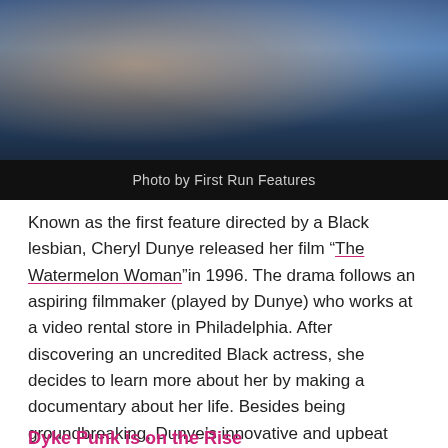[Figure (photo): Partial photo of a person against a blue background, top portion of image cut off. Dark bar at bottom with photo credit.]
Photo by First Run Features
Known as the first feature directed by a Black lesbian, Cheryl Dunye released her film “The Watermelon Woman”in 1996. The drama follows an aspiring filmmaker (played by Dunye) who works at a video rental store in Philadelphia. After discovering an uncredited Black actress, she decides to learn more about her by making a documentary about her life. Besides being groundbreaking, Dunye’s innovative and upbeat movie gave birth to an experimental genre of docu-fiction, dubbed the “Dunyementary.”
Dyke Punk is on the Rise